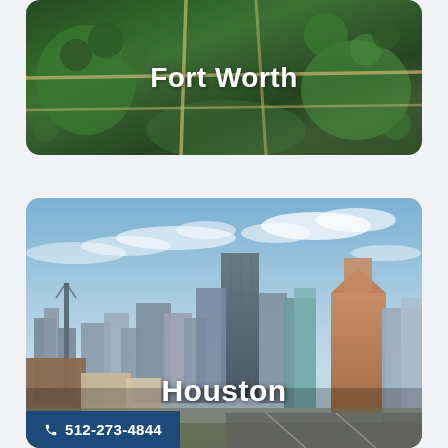[Figure (photo): Aerial view of Fort Worth with green parks and roads, with 'Fort Worth' text overlay]
[Figure (photo): Houston city skyline with tall skyscrapers against a partly cloudy blue sky, with 'Houston' text overlay and phone number badge '512-273-4844']